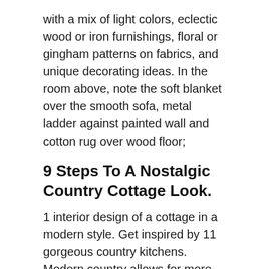with a mix of light colors, eclectic wood or iron furnishings, floral or gingham patterns on fabrics, and unique decorating ideas. In the room above, note the soft blanket over the smooth sofa, metal ladder against painted wall and cotton rug over wood floor;
9 Steps To A Nostalgic Country Cottage Look.
1 interior design of a cottage in a modern style. Get inspired by 11 gorgeous country kitchens. Modern country allows for more playful and nuanced aspects along with minimal notes.
It's Best When You Opt For Slipcovers That Are Sewn From